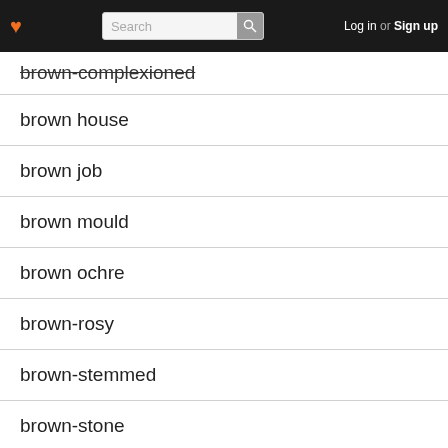Log in or Sign up
brown-complexioned
brown house
brown job
brown mould
brown ochre
brown-rosy
brown-stemmed
brown-stone
brown sugar